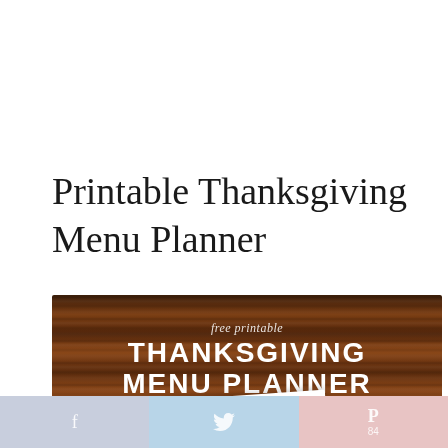Printable Thanksgiving Menu Planner
[Figure (photo): Decorative banner image with a dark wood grain background. Text overlaid reads 'free printable' in italic script at top, then 'THANKSGIVING' in large bold white uppercase letters, then 'MENU PLANNER' in large bold white uppercase letters. A white paper peeks out from the bottom of the image.]
[Figure (other): Social sharing bar at the bottom with three buttons: Facebook (f) on a lavender background, Twitter (bird icon) on a light blue background, and Pinterest (P with subscript 84) on a light pink background.]